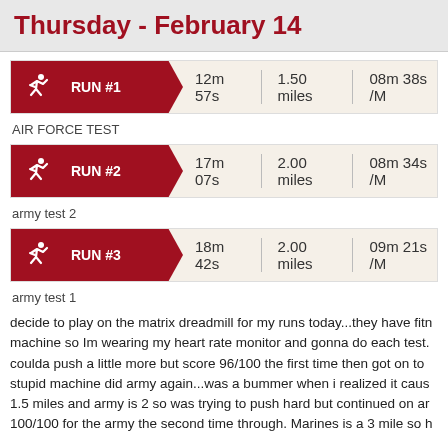Thursday - February 14
[Figure (infographic): Run #1 activity bar: 12m 57s | 1.50 miles | 08m 38s /M]
AIR FORCE TEST
[Figure (infographic): Run #2 activity bar: 17m 07s | 2.00 miles | 08m 34s /M]
army test 2
[Figure (infographic): Run #3 activity bar: 18m 42s | 2.00 miles | 09m 21s /M]
army test 1
decide to play on the matrix dreadmill for my runs today...they have fitn machine so Im wearing my heart rate monitor and gonna do each test. coulda push a little more but score 96/100 the first time then got on to stupid machine did army again...was a bummer when i realized it caus 1.5 miles and army is 2 so was trying to push hard but continued on ar 100/100 for the army the second time through. Marines is a 3 mile so h